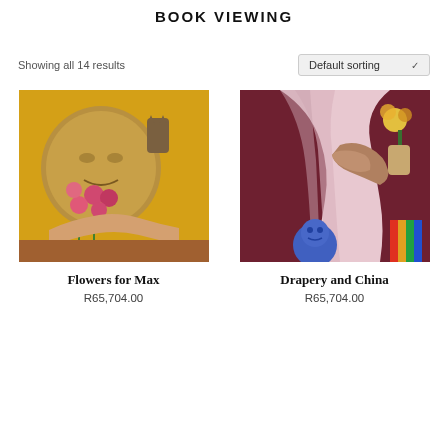BOOK VIEWING
Showing all 14 results
Default sorting
[Figure (photo): Painting of a metallic face sculpture with pink flowers being placed into it, against a yellow background with a cat figurine]
Flowers for Max
R65,704.00
[Figure (photo): Painting of hands draping a pink satin cloth over a blue figure, with flowers in background against a dark maroon wall]
Drapery and China
R65,704.00